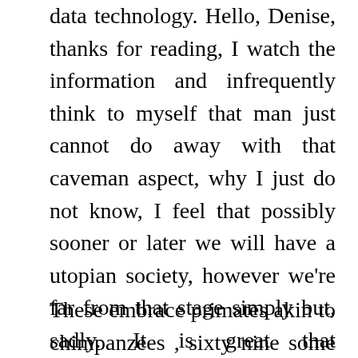data technology. Hello, Denise, thanks for reading, I watch the information and infrequently think to myself that man just cannot do away with that caveman aspect, why I just do not know, I feel that possibly sooner or later we will have a utopian society, however we're far from that stage simply but, sadly. It is great that straightforward tasks can be made easier by nice developments in technology. A clear look on the usefulness of machines is witnessed within the subject of training.
These embrace primates akin to chimpanzees , sixty nine some dolphin communities, 70 and crows …